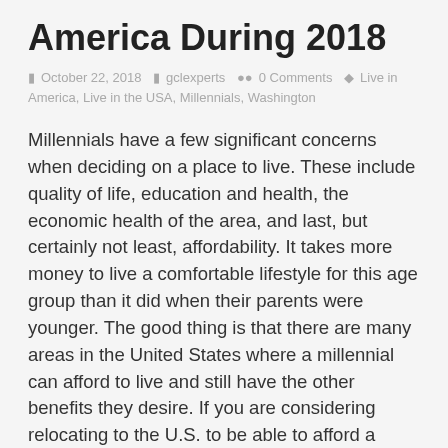America During 2018
October 22, 2018   gclexperts   0 Comments   Live in America, Live in the USA, Millennials, Washington
Millennials have a few significant concerns when deciding on a place to live. These include quality of life, education and health, the economic health of the area, and last, but certainly not least, affordability. It takes more money to live a comfortable lifestyle for this age group than it did when their parents were younger. The good thing is that there are many areas in the United States where a millennial can afford to live and still have the other benefits they desire. If you are considering relocating to the U.S. to be able to afford a comfortable lifestyle, contact GCL Experts for help applying for the Green Card Lottery. They can assist you in applying for the visa needed to live and work in the U.S.